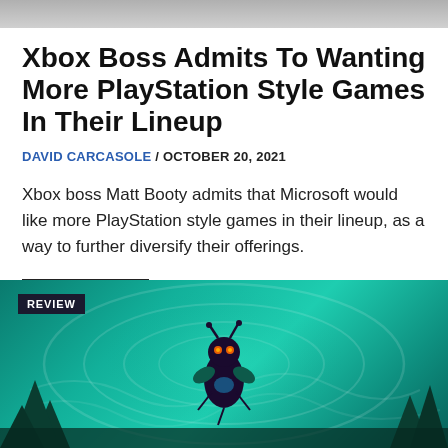[Figure (photo): Top banner image, partially cropped game screenshot]
Xbox Boss Admits To Wanting More PlayStation Style Games In Their Lineup
DAVID CARCASOLE / OCTOBER 20, 2021
Xbox boss Matt Booty admits that Microsoft would like more PlayStation style games in their lineup, as a way to further diversify their offerings.
Read more
[Figure (photo): Review article thumbnail showing a cartoon insect character with glowing eyes against a teal swirling background, labeled REVIEW]